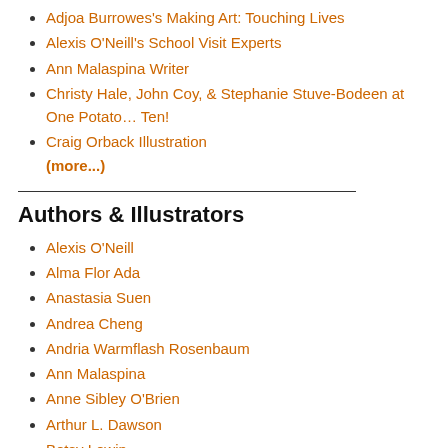Adjoa Burrowes's Making Art: Touching Lives
Alexis O'Neill's School Visit Experts
Ann Malaspina Writer
Christy Hale, John Coy, & Stephanie Stuve-Bodeen at One Potato… Ten!
Craig Orback Illustration
(more...)
Authors & Illustrators
Alexis O'Neill
Alma Flor Ada
Anastasia Suen
Andrea Cheng
Andria Warmflash Rosenbaum
Ann Malaspina
Anne Sibley O'Brien
Arthur L. Dawson
Betsy Lewin
Bill Farnsworth
Candace Whitman